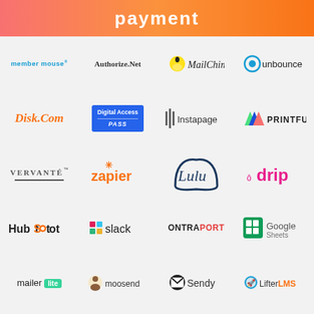payment
[Figure (logo): member mouse logo - teal text]
[Figure (logo): Authorize.Net logo - black text]
[Figure (logo): MailChimp logo with chimp icon]
[Figure (logo): unbounce logo with circle icon]
[Figure (logo): Disk.Com logo - orange italic]
[Figure (logo): Digital Access Pass logo - blue box]
[Figure (logo): Instapage logo with icon]
[Figure (logo): PRINTFUL logo with triangle icon]
[Figure (logo): VERVANTE logo - serif underlined]
[Figure (logo): zapier logo - orange text with asterisk]
[Figure (logo): Lulu logo - dark blue script]
[Figure (logo): drip logo - pink text with icon]
[Figure (logo): HubSpot logo]
[Figure (logo): slack logo with hashtag icon]
[Figure (logo): ONTRAPORT logo]
[Figure (logo): Google Sheets logo]
[Figure (logo): mailer lite logo with green badge]
[Figure (logo): moosend logo with cow icon]
[Figure (logo): Sendy logo with envelope icon]
[Figure (logo): LifterLMS logo with rocket icon]